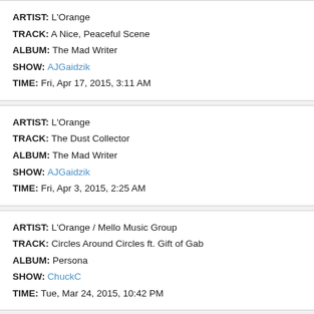ARTIST: L'Orange | TRACK: A Nice, Peaceful Scene | ALBUM: The Mad Writer | SHOW: AJGaidzik | TIME: Fri, Apr 17, 2015, 3:11 AM
ARTIST: L'Orange | TRACK: The Dust Collector | ALBUM: The Mad Writer | SHOW: AJGaidzik | TIME: Fri, Apr 3, 2015, 2:25 AM
ARTIST: L'Orange / Mello Music Group | TRACK: Circles Around Circles ft. Gift of Gab | ALBUM: Persona | SHOW: ChuckC | TIME: Tue, Mar 24, 2015, 10:42 PM
ARTIST: L'Orange | TRACK: Stranger Days | ALBUM: The Mad Writer